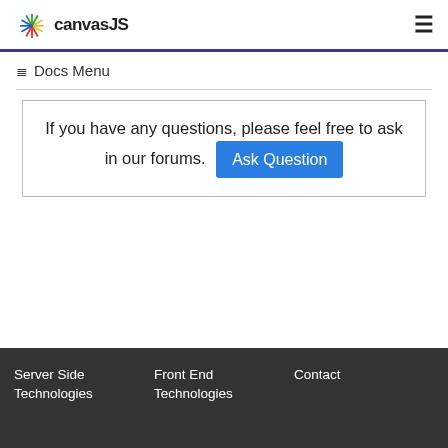canvasJS
☰ Docs Menu
If you have any questions, please feel free to ask in our forums. Ask Question
Server Side Technologies | Front End Technologies | Contact